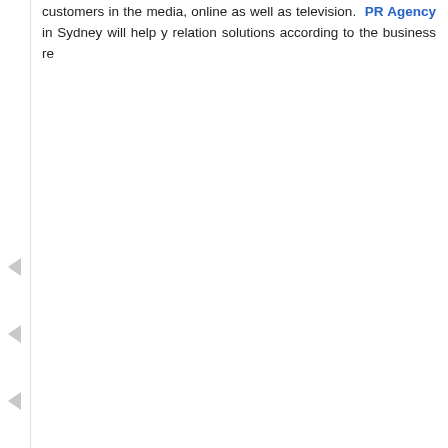customers in the media, online as well as television. PR Agency in Sydney will help you with public relation solutions according to the business re